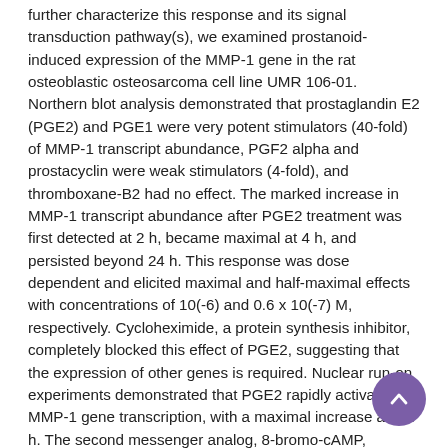further characterize this response and its signal transduction pathway(s), we examined prostanoid-induced expression of the MMP-1 gene in the rat osteoblastic osteosarcoma cell line UMR 106-01. Northern blot analysis demonstrated that prostaglandin E2 (PGE2) and PGE1 were very potent stimulators (40-fold) of MMP-1 transcript abundance, PGF2 alpha and prostacyclin were weak stimulators (4-fold), and thromboxane-B2 had no effect. The marked increase in MMP-1 transcript abundance after PGE2 treatment was first detected at 2 h, became maximal at 4 h, and persisted beyond 24 h. This response was dose dependent and elicited maximal and half-maximal effects with concentrations of 10(-6) and 0.6 x 10(-7) M, respectively. Cycloheximide, a protein synthesis inhibitor, completely blocked this effect of PGE2, suggesting that the expression of other genes is required. Nuclear run-on experiments demonstrated that PGE2 rapidly activates MMP-1 gene transcription, with a maximal increase at 2-4 h. The second messenger analog, 8-bromo-cAMP, mimicked the effects of PGE2 by stimulating a dose-dependent increase in MMP-1 messenger RNA (mRNA) levels, with a maximal effect quantitatively similar to that observed with PGE2. Thus, in UMR 106-01 cells, different prostanoids have distinct potencies in stimulating MMP-1 mRNA abundance. Our data suggest that PGE2 stimulation of MMP-1 synthesis is due to activation of